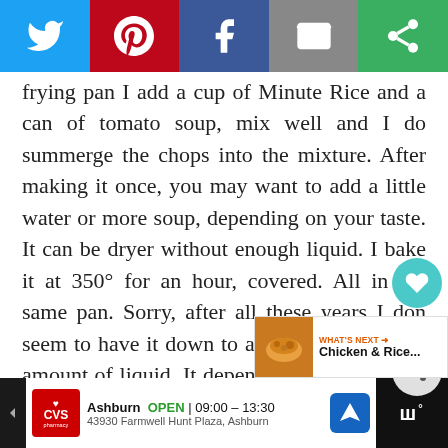[Figure (other): Social media share bar with Twitter, Pinterest, Facebook, Email, and a green share button]
frying pan I add a cup of Minute Rice and a can of tomato soup, mix well and I do summerge the chops into the mixture. After making it once, you may want to add a little water or more soup, depending on your taste. It can be dryer without enough liquid. I bake it at 350° for an hour, covered. All in the same pan. Sorry, after all these years I don seem to have it down to a science t the exact amount of liquid. It depen on your taste. I do think doing the same as your recipe and substituti soup for the onion soup should work as well. Good luck!
[Figure (other): What's Next banner showing Chicken & Rice... with a food image]
[Figure (other): CVS Pharmacy advertisement - Ashburn OPEN 09:00-13:30, 43930 Farmwell Hunt Plaza, Ashburn]